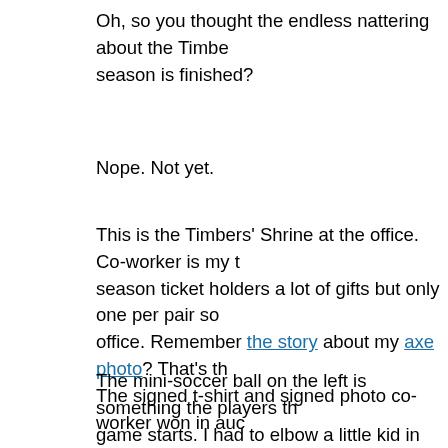Oh, so you thought the endless nattering about the Timbers' season is finished?
Nope. Not yet.
This is the Timbers' Shrine at the office. Co-worker is my t… season ticket holders a lot of gifts but only one per pair so office. Remember the story about my axe photo? That's th… The signed t-shirt and signed photo co-worker won in auc…
The mini-soccer ball on the left is something the players th… game starts. I had to elbow a little kid in the head so I cou… Nagbe who won Goal of the Year.
They also give away things at the games. We missed the the stadium (darn!) But that big thing on the right is a skat… it in and get wheels put on it but I was afraid the urge to th… great and I'd break my neck and feel like a moron.